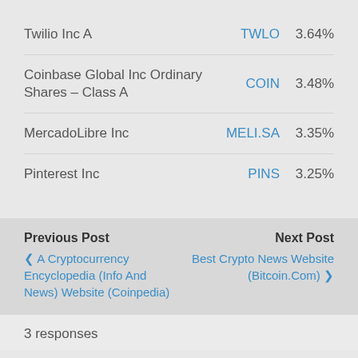Twilio Inc A   TWLO   3.64%
Coinbase Global Inc Ordinary Shares – Class A   COIN   3.48%
MercadoLibre Inc   MELI.SA   3.35%
Pinterest Inc   PINS   3.25%
Previous Post   Next Post
❮ A Cryptocurrency Encyclopedia (Info And News) Website (Coinpedia)
Best Crypto News Website (Bitcoin.Com) ❯
3 responses